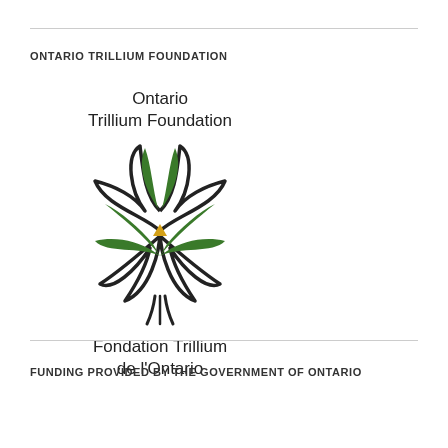ONTARIO TRILLIUM FOUNDATION
[Figure (logo): Ontario Trillium Foundation logo: text 'Ontario Trillium Foundation' above a stylized trillium flower with black outline petals, three green leaves, and a small yellow triangle center. Below reads 'Fondation Trillium de l'Ontario' in French.]
FUNDING PROVIDED BY THE GOVERNMENT OF ONTARIO